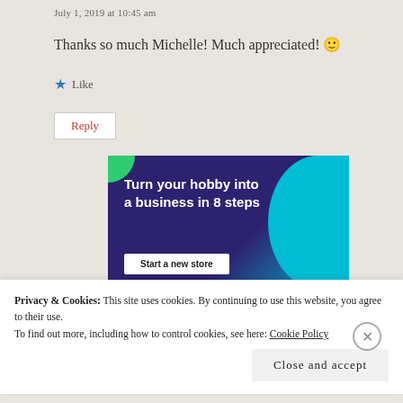July 1, 2019 at 10:45 am
Thanks so much Michelle! Much appreciated! 🙂
★ Like
Reply
[Figure (infographic): Advertisement banner with dark purple/navy background and teal circle. Text reads 'Turn your hobby into a business in 8 steps' with a 'Start a new store' button.]
Privacy & Cookies: This site uses cookies. By continuing to use this website, you agree to their use. To find out more, including how to control cookies, see here: Cookie Policy
Close and accept